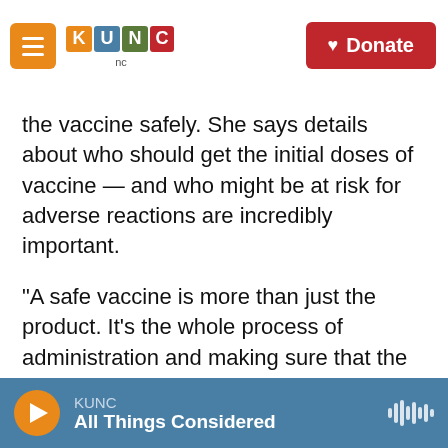KUNC — Donate
the vaccine safely. She says details about who should get the initial doses of vaccine — and who might be at risk for adverse reactions are incredibly important.
"A safe vaccine is more than just the product. It's the whole process of administration and making sure that the right people get it or don't get it," she says.
She and other immunization managers like her are waiting eagerly for the CDC to publish its detailed recommendations in a Morbidity Mortality Weekly
KUNC — All Things Considered